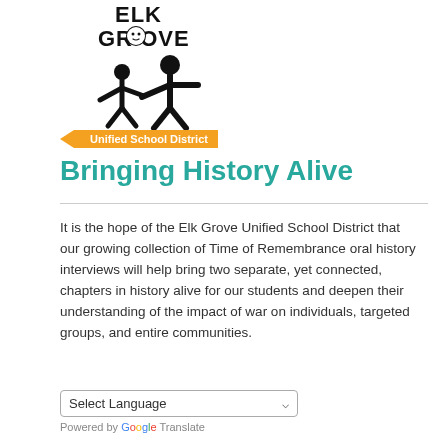[Figure (logo): Elk Grove Unified School District logo with stylized human figures and orange arrow banner reading 'Unified School District']
Bringing History Alive
It is the hope of the Elk Grove Unified School District that our growing collection of Time of Remembrance oral history interviews will help bring two separate, yet connected, chapters in history alive for our students and deepen their understanding of the impact of war on individuals, targeted groups, and entire communities.
Select Language  Powered by Google Translate